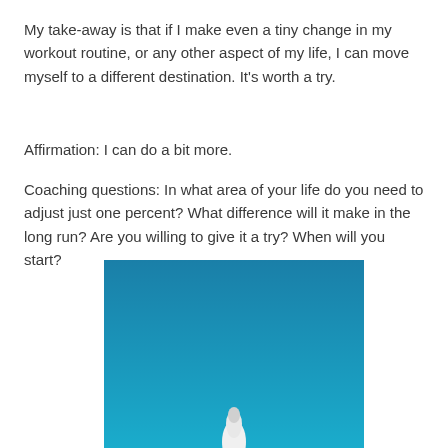My take-away is that if I make even a tiny change in my workout routine, or any other aspect of my life, I can move myself to a different destination. It's worth a try.
Affirmation: I can do a bit more.
Coaching questions: In what area of your life do you need to adjust just one percent? What difference will it make in the long run? Are you willing to give it a try? When will you start?
[Figure (photo): A blue sky background with a white rocket or similar object visible at the bottom center of the image, partially cropped.]